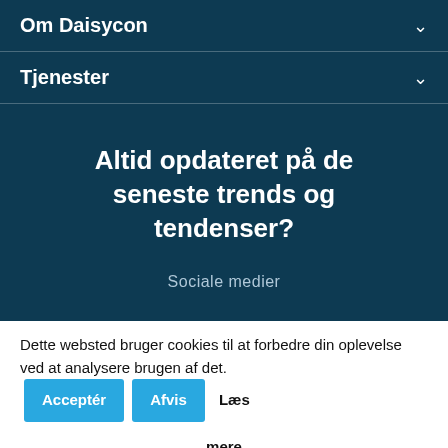Om Daisycon
Tjenester
Altid opdateret på de seneste trends og tendenser?
Sociale medier
Dette websted bruger cookies til at forbedre din oplevelse ved at analysere brugen af det.
Acceptér
Afvis
Læs mere